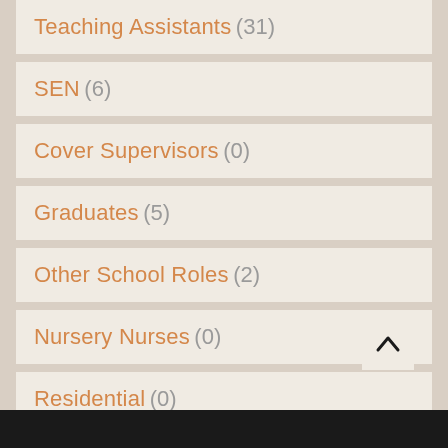Teaching Assistants (31)
SEN (6)
Cover Supervisors (0)
Graduates (5)
Other School Roles (2)
Nursery Nurses (0)
Residential (0)
Internet Roles (5)